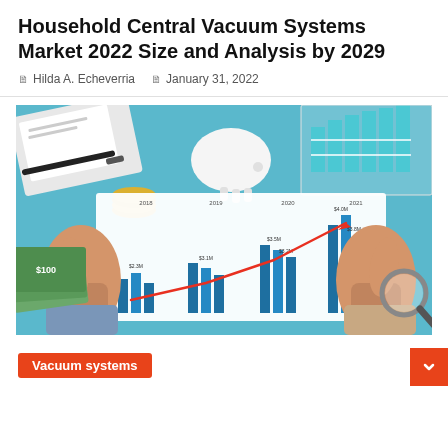Household Central Vacuum Systems Market 2022 Size and Analysis by 2029
Hilda A. Echeverria   January 31, 2022
[Figure (photo): Photo of two thumbs up over a bar and line chart showing market growth data, with financial items (dollar bills, coins, piggy bank, magnifying glass) on a blue background. Chart shows years 2018, 2019, 2020, 2021 with ascending blue bars and a red upward trend line.]
Vacuum systems